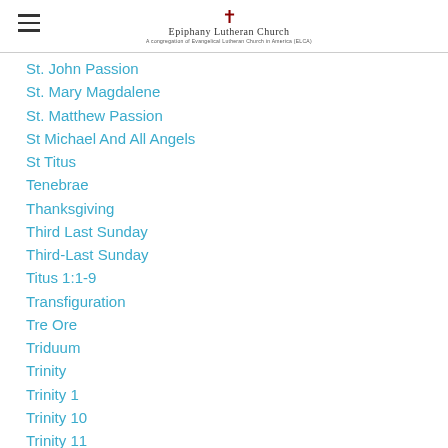Epiphany Lutheran Church
St. John Passion
St. Mary Magdalene
St. Matthew Passion
St Michael And All Angels
St Titus
Tenebrae
Thanksgiving
Third Last Sunday
Third-Last Sunday
Titus 1:1-9
Transfiguration
Tre Ore
Triduum
Trinity
Trinity 1
Trinity 10
Trinity 11
Trinity 12